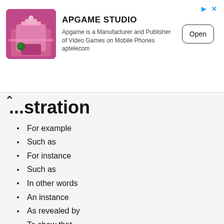[Figure (screenshot): Advertisement banner for APGAME STUDIO with game app image, description text 'Apgame is a Manufacturer and Publisher of Video Games on Mobile Phones aptelecom', and an Open button]
...stration
For example
Such as
For instance
Such as
In other words
An instance
As revealed by
To show that
In the case of
As an example
For one thing